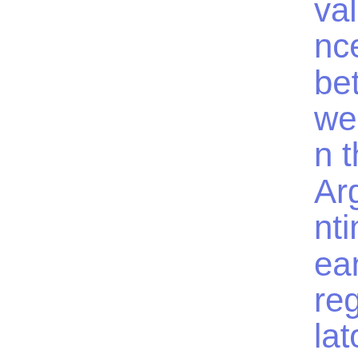valence between the Argentinean regulatory and supervisory framework and the EU regulator